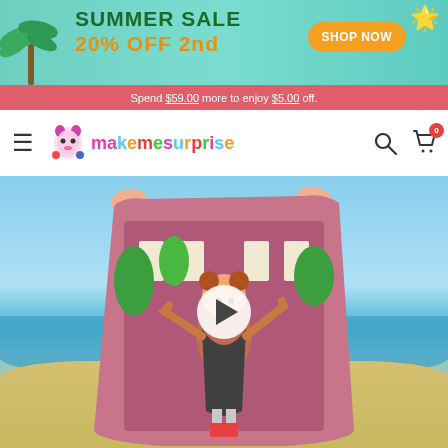[Figure (screenshot): Summer Sale banner with teal gradient background, palm tree on left, starfish on right, bold text reading SUMMER SALE 20% OFF 2nd, orange SHOP NOW button]
Spend $59.00 more to enjoy $5.00 off.
[Figure (logo): MakeMeSurprise logo with cartoon girl mascot icon and colorful text]
[Figure (photo): Product photo showing a girl holding a custom photo blanket with a fantasy school/castle background image. A video play button overlay is visible in the center. Beach background behind the product.]